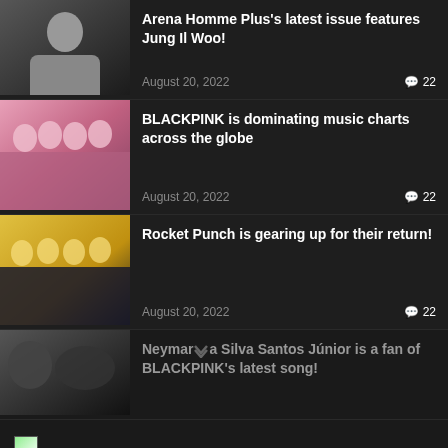[Figure (photo): Black and white photo of male person in suit]
Arena Homme Plus's latest issue features Jung Il Woo!
August 20, 2022  💬 22
[Figure (photo): BLACKPINK group photo in pink outfits]
BLACKPINK is dominating music charts across the globe
August 20, 2022  💬 22
[Figure (photo): Rocket Punch group photo in yellow and black outfits]
Rocket Punch is gearing up for their return!
August 20, 2022  💬 22
[Figure (photo): Dark photo with Neymar and BLACKPINK]
Neymar da Silva Santos Júnior is a fan of BLACKPINK's latest song!
[Figure (photo): Broken image placeholder]
MOVIE REVIEWS